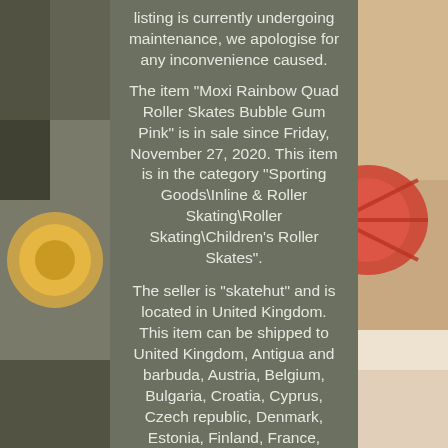[Figure (photo): Left side photo of roller skate wheel/boot, partially visible]
listing is currently undergoing maintenance, we apologise for any inconvenience caused.
The item "Moxi Rainbow Quad Roller Skates Bubble Gum Pink" is in sale since Friday, November 27, 2020. This item is in the category "Sporting Goods\Inline & Roller Skating\Roller Skating\Children's Roller Skates".
The seller is "skatehut" and is located in United Kingdom. This item can be shipped to United Kingdom, Antigua and barbuda, Austria, Belgium, Bulgaria, Croatia, Cyprus, Czech republic, Denmark, Estonia, Finland, France, Germany, Greece, Hungary, Ireland, Italy, Latvia, Lithuania, Luxembourg, Malta, Netherlands, Poland, Portugal, Romania, Slovakia, Slovenia, Spain, Sweden, Australia, United States, Bahrain, Canada, Brazil, Japan, New Zealand, China, Israel, Hong Kong, Norway, Indonesia, Malaysia, Mexico, Singapore, South Korea, Switzerland, Taiwan, Thailand, Bangladesh, Belize, Bermuda,
[Figure (photo): Right side photo of roller skate wheel/hub, partially visible, pink/red colors]